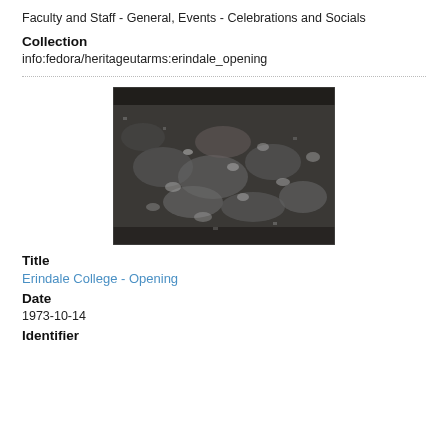Faculty and Staff - General, Events - Celebrations and Socials
Collection
info:fedora/heritageutarms:erindale_opening
[Figure (photo): Black and white photograph showing a large crowd of people gathered in what appears to be a hall or auditorium, taken from an elevated angle.]
Title
Erindale College - Opening
Date
1973-10-14
Identifier